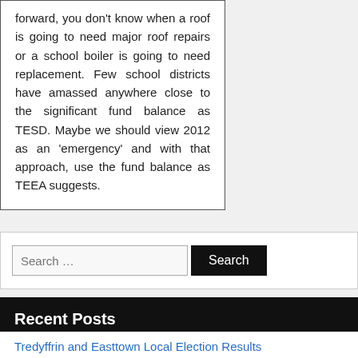forward, you don't know when a roof is going to need major roof repairs or a school boiler is going to need replacement. Few school districts have amassed anywhere close to the significant fund balance as TESD. Maybe we should view 2012 as an 'emergency' and with that approach, use the fund balance as TEEA suggests.
Search …
Recent Posts
Tredyffrin and Easttown Local Election Results
Local Elections Matter — Vote on Tuesday, Nov. 8!